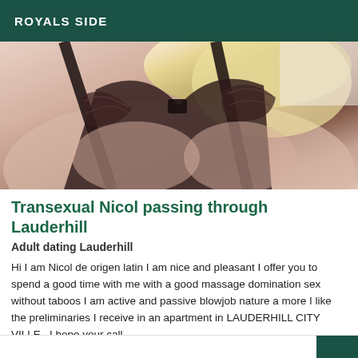ROYALS SIDE
[Figure (photo): Close-up photo of a person wearing a black lace bra/lingerie, blonde hair visible, flesh-toned skin, cropped torso shot]
Transexual Nicol passing through Lauderhill
Adult dating Lauderhill
Hi I am Nicol de origen latin I am nice and pleasant I offer you to spend a good time with me with a good massage domination sex without taboos I am active and passive blowjob nature a more I like the preliminaries I receive in an apartment in LAUDERHILL CITY VILLE . I hope your call